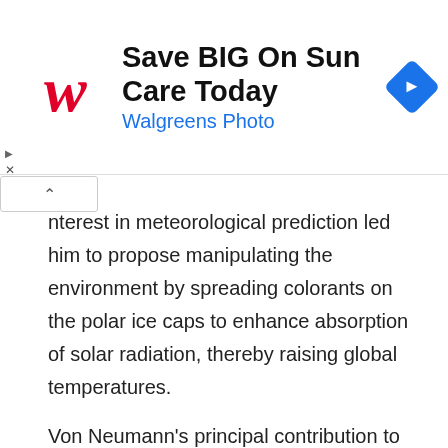[Figure (other): Walgreens Photo advertisement banner with Walgreens red cursive W logo, text 'Save BIG On Sun Care Today' and 'Walgreens Photo', and a blue diamond navigation icon on the right]
nterest in meteorological prediction led him to propose manipulating the environment by spreading colorants on the polar ice caps to enhance absorption of solar radiation, thereby raising global temperatures.
Von Neumann's principal contribution to the Manhattan Project and the atomic bomb was in the concept and design of the explosive lenses needed to compress the plutonium core of the Trinity test device. Von Neumann's hydrogen bomb work was also played out in the realm of computing, where he and fellow physicist